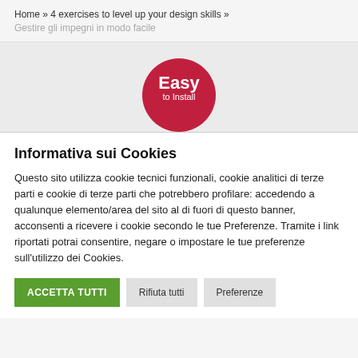Home » 4 exercises to level up your design skills » Gestire gli impegni in modo facile
[Figure (illustration): Red circular badge with white text reading 'Easy to Install']
Informativa sui Cookies
Questo sito utilizza cookie tecnici funzionali, cookie analitici di terze parti e cookie di terze parti che potrebbero profilare: accedendo a qualunque elemento/area del sito al di fuori di questo banner, acconsenti a ricevere i cookie secondo le tue Preferenze. Tramite i link riportati potrai consentire, negare o impostare le tue preferenze sull'utilizzo dei Cookies.
ACCETTA TUTTI
Rifiuta tutti
Preferenze